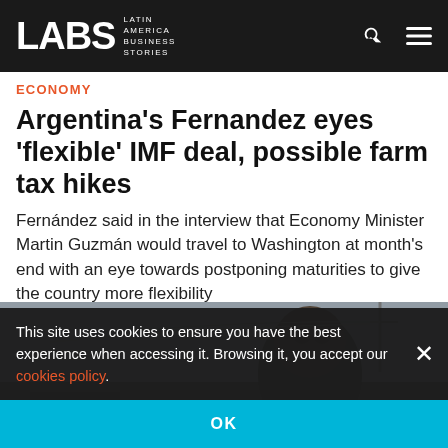LABS Latin America Business Stories
ECONOMY
Argentina's Fernandez eyes 'flexible' IMF deal, possible farm tax hikes
Fernández said in the interview that Economy Minister Martin Guzmán would travel to Washington at month's end with an eye towards postponing maturities to give the country more flexibility
[Figure (photo): Photograph of a man (Fernandez) outdoors, partial view, dark background]
This site uses cookies to ensure you have the best experience when accessing it. Browsing it, you accept our cookies policy.
OK